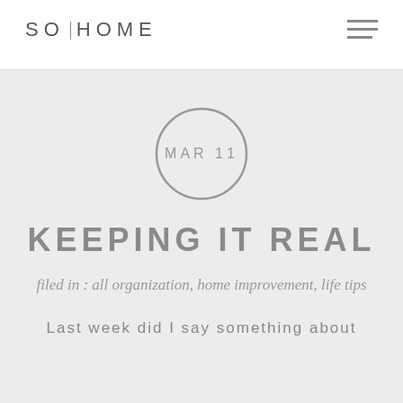SO|HOME
[Figure (illustration): Circle with date MAR 11 inside]
KEEPING IT REAL
filed in : all organization, home improvement, life tips
Last week did I say something about